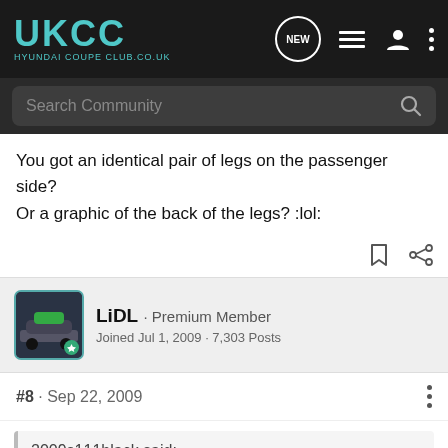UKCC HYUNDAI COUPE CLUB.CO.UK
You got an identical pair of legs on the passenger side? Or a graphic of the back of the legs? :lol:
LiDL · Premium Member
Joined Jul 1, 2009 · 7,303 Posts
#8 · Sep 22, 2009
2009s111black said: